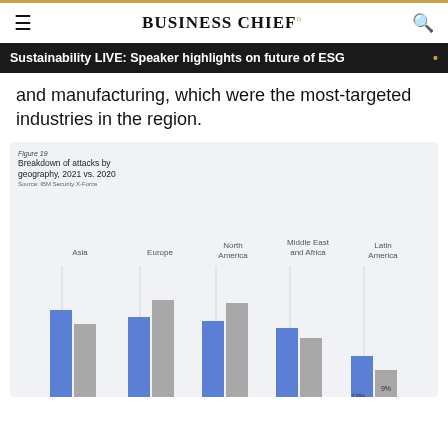BUSINESS CHIEF°
Sustainability LIVE: Speaker highlights on future of ESG
and manufacturing, which were the most-targeted industries in the region.
[Figure (grouped-bar-chart): Breakdown of attacks by geography, 2021 vs. 2020]